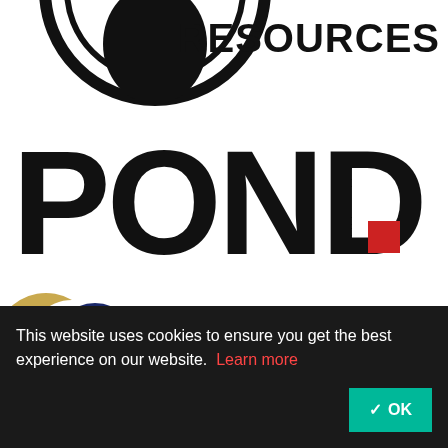[Figure (logo): Partial circular logo on the left and RESOURCES text on the right, top of page]
[Figure (logo): POND logo in large bold black letters with a red square dot after the D]
[Figure (logo): Lake Superior Consulting logo - a globe icon with crescent gold arc, LAKE SUPERIOR CONSULTING in navy blue bold text, A SHAWCOR COMPANY in gold beneath]
[Figure (logo): MOBILTEX logo in large white bold italic letters on a light blue angled background]
This website uses cookies to ensure you get the best experience on our website. Learn more
OK